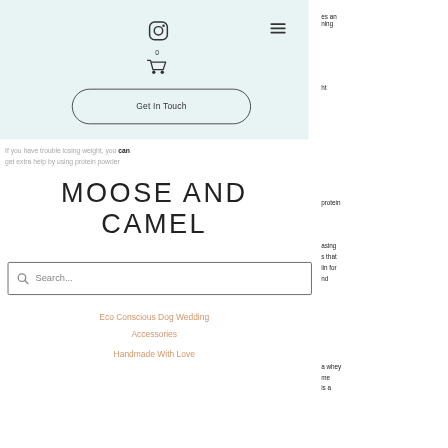[Figure (screenshot): Website header with light teal background, Instagram icon, cart icon with 0 badge, hamburger menu icon]
Get In Touch
If you have trouble losing weight, you can get extra help by using protein powder
MOOSE AND CAMEL
Search...
Eco Conscious Dog Wedding Accessories
Handmade With Love